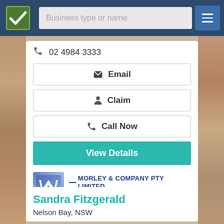Business type or name
02 4984 3333
Email
Claim
Call Now
View Details
[Figure (logo): Morley & Company Pty Limited logo with stylized W mark]
MORLEY & COMPANY PTY LIMITED
CHARTERED ACCOUNTANTS
Sandra Fitzgerald
Nelson Bay, NSW